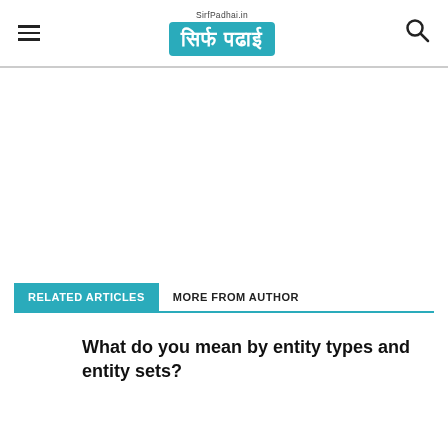SirfPadhai.in — सिर्फ पढाई (Logo Header)
[Figure (other): Advertisement / blank white space area]
RELATED ARTICLES  MORE FROM AUTHOR
What do you mean by entity types and entity sets?